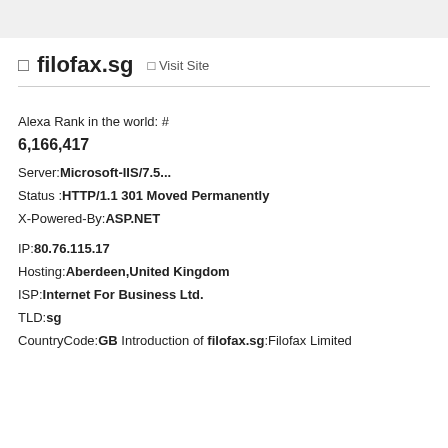filofax.sg  Visit Site
Alexa Rank in the world: #
6,166,417
Server: Microsoft-IIS/7.5...
Status : HTTP/1.1 301 Moved Permanently
X-Powered-By: ASP.NET
IP: 80.76.115.17
Hosting: Aberdeen,United Kingdom
ISP: Internet For Business Ltd.
TLD: sg
CountryCode: GB Introduction of filofax.sg: Filofax Limited